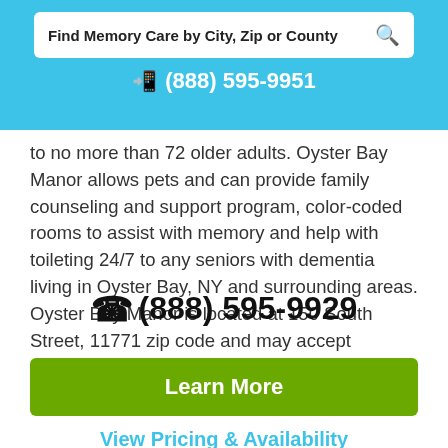Find Memory Care by City, Zip or County
(888) 595-9951
to no more than 72 older adults. Oyster Bay Manor allows pets and can provide family counseling and support program, color-coded rooms to assist with memory and help with toileting 24/7 to any seniors with dementia living in Oyster Bay, NY and surrounding areas. Oyster Bay Manor is located at 150 South Street, 11771 zip code and may accept Medicaid and Medicare.
(888) 595-9929
Learn More
View Pricing & Availability